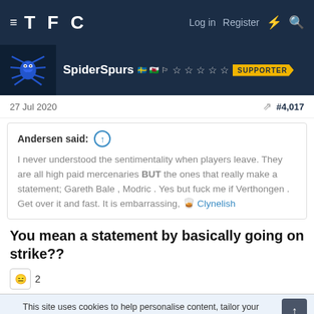TFC — Log in  Register
SpiderSpurs 🇸🇪 🏴󠁧󠁢󠁷󠁬󠁳󠁿 🏳️ trophy trophy trophy trophy trophy SUPPORTER
27 Jul 2020  #4,017
Andersen said: ↑

I never understood the sentimentality when players leave. They are all high paid mercenaries BUT the ones that really make a statement; Gareth Bale , Modric . Yes but fuck me if Verthongen . Get over it and fast. It is embarrassing, 🥃 Clynelish
You mean a statement by basically going on strike??
😑 2
This site uses cookies to help personalise content, tailor your experience and to keep you logged in if you register.
By continuing to use this site, you are consenting to our use of cookies.